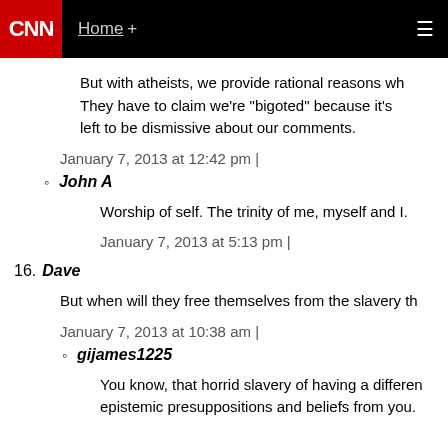CNN | Home +
But with atheists, we provide rational reasons wh... They have to claim we're "bigoted" because it's left to be dismissive about our comments.
January 7, 2013 at 12:42 pm |
John A
Worship of self. The trinity of me, myself and I.
January 7, 2013 at 5:13 pm |
16. Dave
But when will they free themselves from the slavery th...
January 7, 2013 at 10:38 am |
gijames1225
You know, that horrid slavery of having a differen... epistemic presuppositions and beliefs from you.